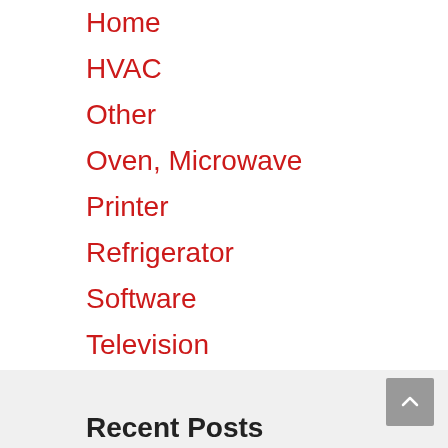Home
HVAC
Other
Oven, Microwave
Printer
Refrigerator
Software
Television
Vacuum
Washing Machine
Recent Posts